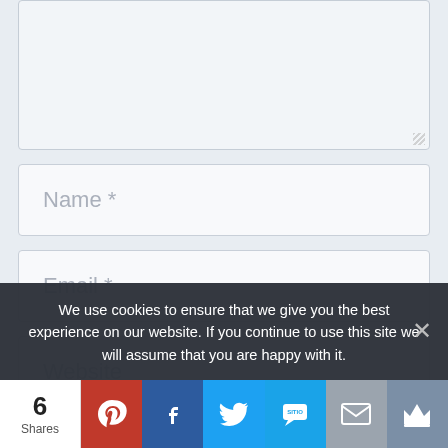[Figure (screenshot): A comment form textarea (large empty input box at top), followed by Name, Email, Website input fields, and a black submit button, on a light blue-grey background.]
We use cookies to ensure that we give you the best experience on our website. If you continue to use this site we will assume that you are happy with it.
6 Shares